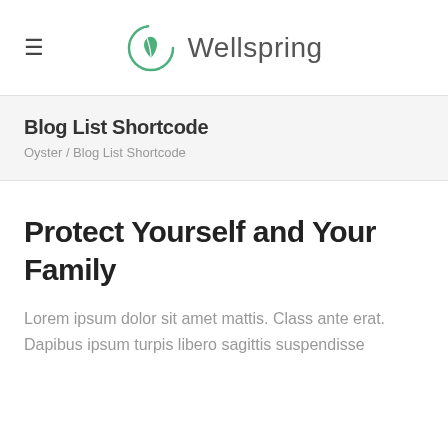≡  Wellspring
Blog List Shortcode
Oyster / Blog List Shortcode
Protect Yourself and Your Family
Lorem ipsum dolor sit amet mattis. Class ante erat. Dapibus ipsum turpis libero sagittis suspendisse